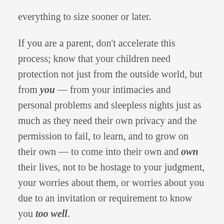everything to size sooner or later.
If you are a parent, don't accelerate this process; know that your children need protection not just from the outside world, but from you — from your intimacies and personal problems and sleepless nights just as much as they need their own privacy and the permission to fail, to learn, and to grow on their own — to come into their own and own their lives, not to be hostage to your judgment, your worries about them, or worries about you due to an invitation or requirement to know you too well.
A parent is a guardian and a custodian, not an owner; a loving authority, not a buddy. A child is not on the planet for the purpose of fulfilling your life,